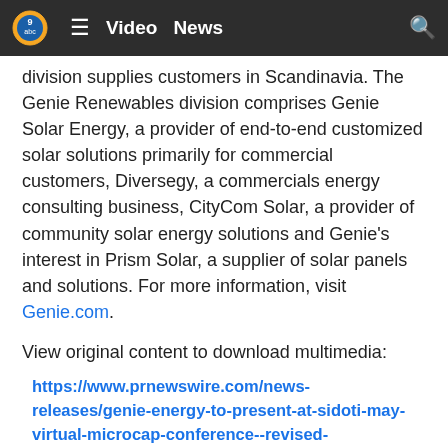Video   News
division supplies customers in Scandinavia. The Genie Renewables division comprises Genie Solar Energy, a provider of end-to-end customized solar solutions primarily for commercial customers, Diversegy, a commercials energy consulting business, CityCom Solar, a provider of community solar energy solutions and Genie's interest in Prism Solar, a supplier of solar panels and solutions. For more information, visit Genie.com.
View original content to download multimedia:
https://www.prnewswire.com/news-releases/genie-energy-to-present-at-sidoti-may-virtual-microcap-conference--revised-presentation-time-301542464.html
SOURCE Genie Energy Ltd.